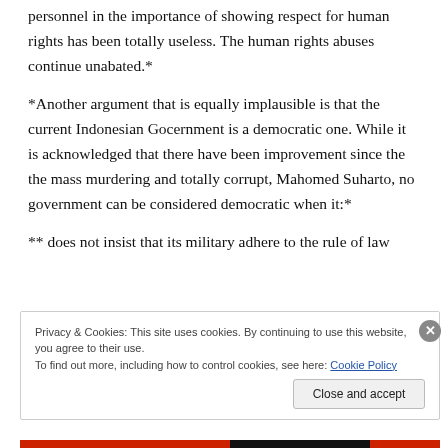personnel in the importance of showing respect for human rights has been totally useless. The human rights abuses continue unabated.*
*Another argument that is equally implausible is that the current Indonesian Gocernment is a democratic one. While it is acknowledged that there have been improvement since the the mass murdering and totally corrupt, Mahomed Suharto, no government can be considered democratic when it:*
** does not insist that its military adhere to the rule of law
Privacy & Cookies: This site uses cookies. By continuing to use this website, you agree to their use.
To find out more, including how to control cookies, see here: Cookie Policy